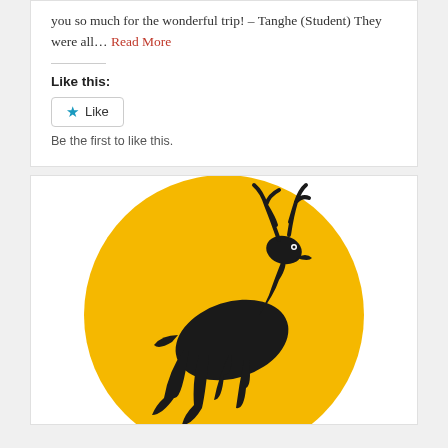you so much for the wonderful trip! – Tanghe (Student) They were all... Read More
Like this:
Like
Be the first to like this.
[Figure (logo): Leaping deer silhouette logo on a golden yellow circle background]